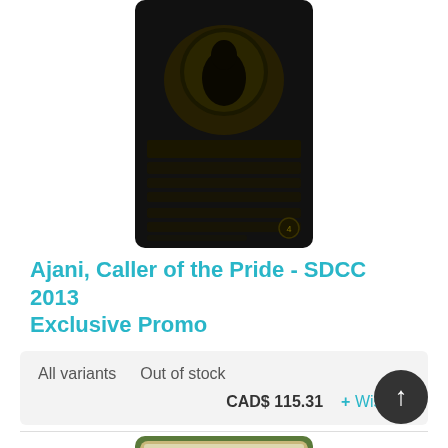[Figure (photo): Dark/black Magic: The Gathering card showing Ajani, Caller of the Pride - SDCC 2013 Exclusive Promo, with a lion-like planeswalker figure against a moon background]
Ajani, Caller of the Pride - SDCC 2013 Exclusive Promo
All variants   Out of stock
CAD$ 115.31   + Wishlist
[Figure (photo): Magic: The Gathering card showing Japanese version of Ajani, Caller of the Pride with white/gold lion planeswalker artwork, green border]